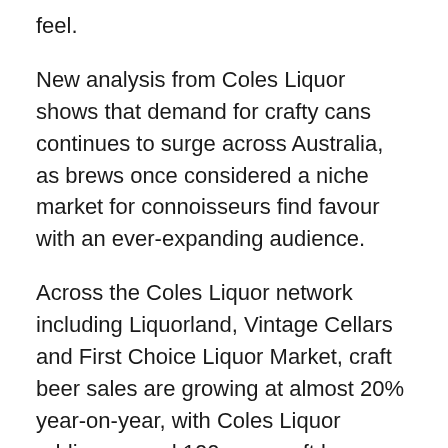feel.
New analysis from Coles Liquor shows that demand for crafty cans continues to surge across Australia, as brews once considered a niche market for connoisseurs find favour with an ever-expanding audience.
Across the Coles Liquor network including Liquorland, Vintage Cellars and First Choice Liquor Market, craft beer sales are growing at almost 20% year-on-year, with Coles Liquor adding around 100 new craft beer lines to shelves in the past year.
The shift to “quality over quantity” is part of a global trend towards moderation, with UK market research finding 60% of beer drinkers would rather drink small